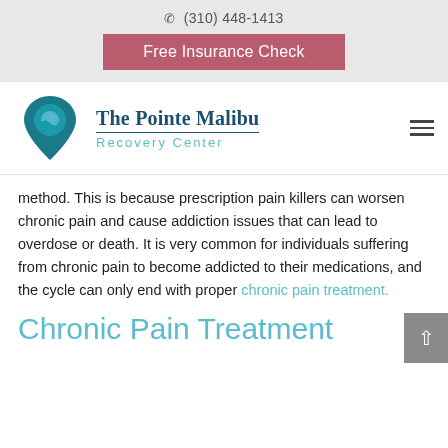☎ (310) 448-1413
Free Insurance Check
[Figure (logo): The Pointe Malibu Recovery Center logo — circular teal location pin with wave design, next to text 'The Pointe Malibu' in dark blue serif font with 'Recovery Center' in light blue below]
method. This is because prescription pain killers can worsen chronic pain and cause addiction issues that can lead to overdose or death. It is very common for individuals suffering from chronic pain to become addicted to their medications, and the cycle can only end with proper chronic pain treatment.
Chronic Pain Treatment